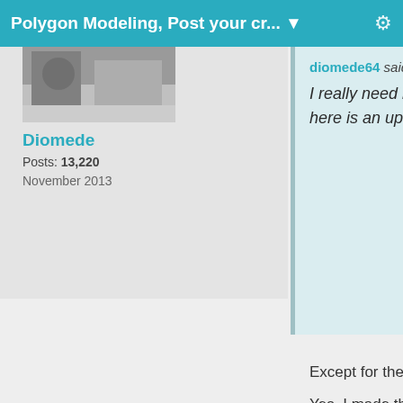Polygon Modeling, Post your cr... ▼
[Figure (photo): User avatar photo thumbnail showing an outdoor scene]
Diomede
Posts: 13,220
November 2013
diomede64 said:
I really need help with hair and fur. Anyway, here is an update to my mutt.
Except for the hair, it looks invisible. :gulp:
Yes, I made the figure invisible to make as clear as possible that I really suck at making fur. But, Holly's tutorial is great. Once I get a chance to go through the tut in more detail, I'll post a (hopefully) vastly